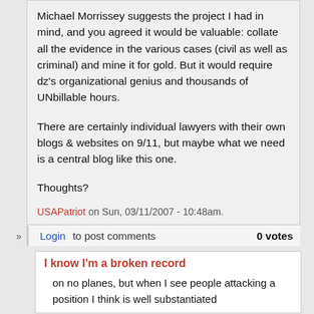Michael Morrissey suggests the project I had in mind, and you agreed it would be valuable: collate all the evidence in the various cases (civil as well as criminal) and mine it for gold. But it would require dz's organizational genius and thousands of UNbillable hours.

There are certainly individual lawyers with their own blogs & websites on 9/11, but maybe what we need is a central blog like this one.

Thoughts?
USAPatriot on Sun, 03/11/2007 - 10:48am.
» Login to post comments   0 votes
I know I'm a broken record
on no planes, but when I see people attacking a position I think is well substantiated